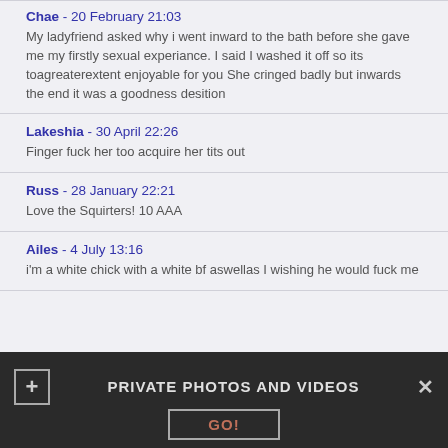Chae - 20 February 21:03
My ladyfriend asked why i went inward to the bath before she gave me my firstly sexual experiance. I said I washed it off so its toagreaterextent enjoyable for you She cringed badly but inwards the end it was a goodness desition
Lakeshia - 30 April 22:26
Finger fuck her too acquire her tits out
Russ - 28 January 22:21
Love the Squirters! 10 AAA
Ailes - 4 July 13:16
i'm a white chick with a white bf aswellas I wishing he would fuck me
PRIVATE PHOTOS AND VIDEOS
GO!